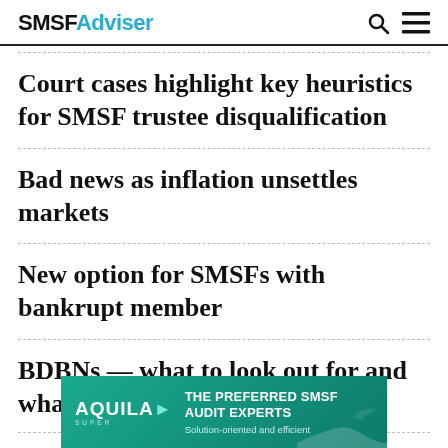SMSFAdviser
Court cases highlight key heuristics for SMSF trustee disqualification
Bad news as inflation unsettles markets
New option for SMSFs with bankrupt member
BDBNs — what to look out for and what to avoid
[Figure (infographic): Aquila Super advertisement banner — THE PREFERRED SMSF AUDIT EXPERTS. Solution-oriented and efficient]